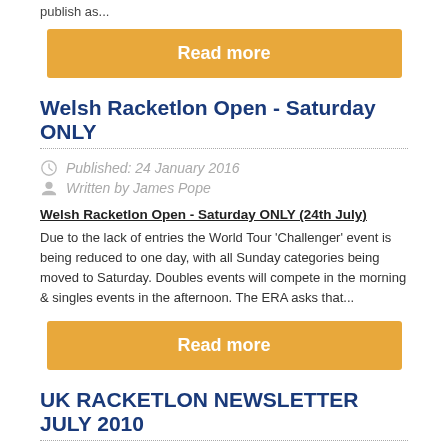publish as...
Read more
Welsh Racketlon Open - Saturday ONLY
Published: 24 January 2016
Written by James Pope
Welsh Racketlon Open - Saturday ONLY (24th July)
Due to the lack of entries the World Tour 'Challenger' event is being reduced to one day, with all Sunday categories being moved to Saturday. Doubles events will compete in the morning & singles events in the afternoon. The ERA asks that...
Read more
UK RACKETLON NEWSLETTER JULY 2010